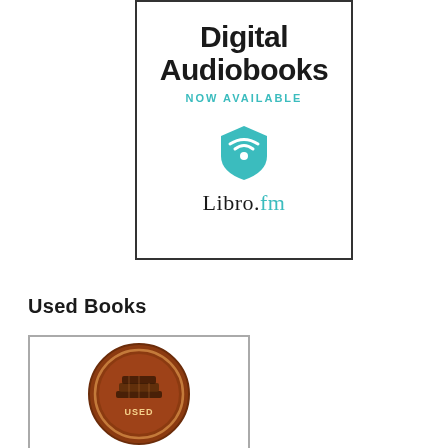[Figure (logo): Libro.fm Digital Audiobooks Now Available advertisement box with teal wifi/headphone icon and Libro.fm logo]
Used Books
[Figure (logo): Used Books circular seal/badge logo in brown/copper color with books illustration and text]